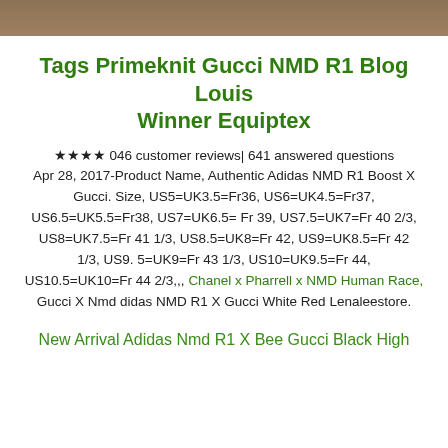[Figure (photo): Decorative brown wood texture header image strip]
Tags Primeknit Gucci NMD R1 Blog Louis Winner Equiptex
★★★★ 046 customer reviews| 641 answered questions Apr 28, 2017-Product Name, Authentic Adidas NMD R1 Boost X Gucci. Size, US5=UK3.5=Fr36, US6=UK4.5=Fr37, US6.5=UK5.5=Fr38, US7=UK6.5= Fr 39, US7.5=UK7=Fr 40 2/3, US8=UK7.5=Fr 41 1/3, US8.5=UK8=Fr 42, US9=UK8.5=Fr 42 1/3, US9. 5=UK9=Fr 43 1/3, US10=UK9.5=Fr 44, US10.5=UK10=Fr 44 2/3,,, Chanel x Pharrell x NMD Human Race, Gucci X Nmd didas NMD R1 X Gucci White Red Lenaleestore.
New Arrival Adidas Nmd R1 X Bee Gucci Black High